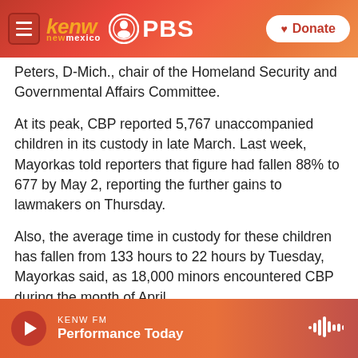[Figure (screenshot): KENW New Mexico PBS navigation bar with hamburger menu, KENW logo, PBS logo, and Donate button]
Peters, D-Mich., chair of the Homeland Security and Governmental Affairs Committee.
At its peak, CBP reported 5,767 unaccompanied children in its custody in late March. Last week, Mayorkas told reporters that figure had fallen 88% to 677 by May 2, reporting the further gains to lawmakers on Thursday.
Also, the average time in custody for these children has fallen from 133 hours to 22 hours by Tuesday, Mayorkas said, as 18,000 minors encountered CBP during the month of April.
KENW FM  Performance Today